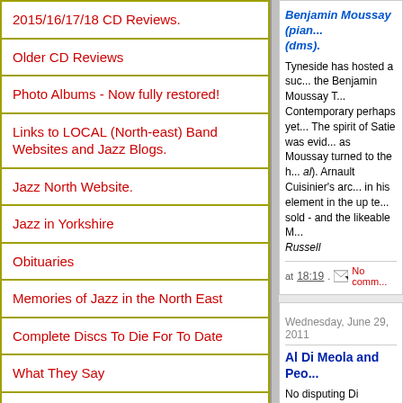2015/16/17/18 CD Reviews.
Older CD Reviews
Photo Albums - Now fully restored!
Links to LOCAL (North-east) Band Websites and Jazz Blogs.
Jazz North Website.
Jazz in Yorkshire
Obituaries
Memories of Jazz in the North East
Complete Discs To Die For To Date
What They Say
1930's Jazz Video Clips from Artie to Woody.
Benjamin Moussay (pian... (dms). Tyneside has hosted a suc... the Benjamin Moussay T... Contemporary perhaps yet... The spirit of Satie was evid... as Moussay turned to the h... al). Arnault Cuisinier's arc... in his element in the up te... sold - and the likeable M... Russell
at 18:19.  No comm...
Wednesday, June 29, 2011
Al Di Meola and Peo...
No disputing Di Meola's a...